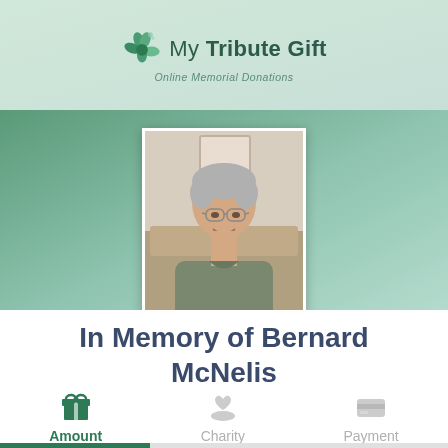[Figure (logo): My Tribute Gift - Online Memorial Donations logo with green shamrock/flower icon]
[Figure (photo): Photo of an elderly man with glasses and grey hair, wearing a grey shirt, seated in a chair, smiling]
In Memory of Bernard McNelis
Amount
Charity
Payment